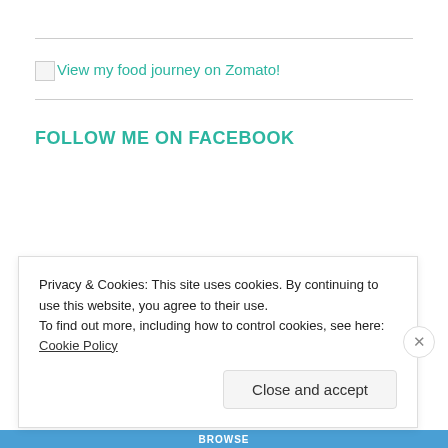View my food journey on Zomato!
FOLLOW ME ON FACEBOOK
Privacy & Cookies: This site uses cookies. By continuing to use this website, you agree to their use.
To find out more, including how to control cookies, see here: Cookie Policy
Close and accept